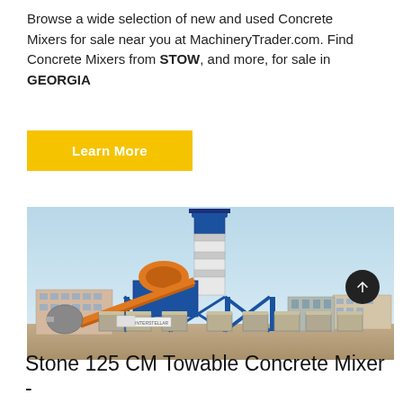Browse a wide selection of new and used Concrete Mixers for sale near you at MachineryTrader.com. Find Concrete Mixers from STOW, and more, for sale in GEORGIA
Learn More
[Figure (photo): A large industrial concrete mixing plant with a tall blue and white cylindrical silo tower, orange and blue metal framework structure, surrounded by concrete barriers, with buildings visible in the background.]
Stone 125 CM Towable Concrete Mixer -